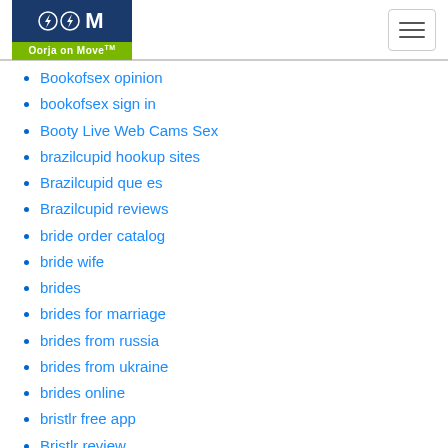[Figure (logo): Oorja on Move logo with lightning bolt icons on dark blue background and green bar]
Bookofsex opinion
bookofsex sign in
Booty Live Web Cams Sex
brazilcupid hookup sites
Brazilcupid que es
Brazilcupid reviews
bride order catalog
bride wife
brides
brides for marriage
brides from russia
brides from ukraine
brides online
bristlr free app
Bristlr review
Bristlr visitors